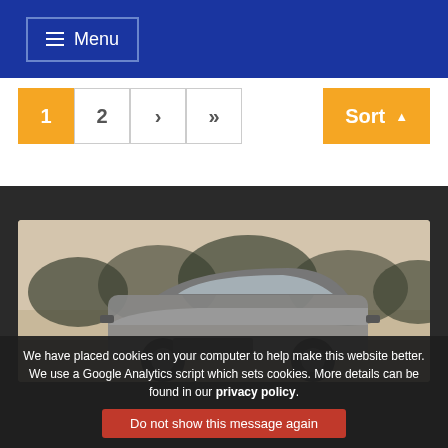≡ Menu
1  2  ›  »
Sort ▲
[Figure (photo): A silver SUV/car photographed from the front-left angle in misty/foggy conditions with trees in the background]
We have placed cookies on your computer to help make this website better. We use a Google Analytics script which sets cookies. More details can be found in our privacy policy.
Do not show this message again